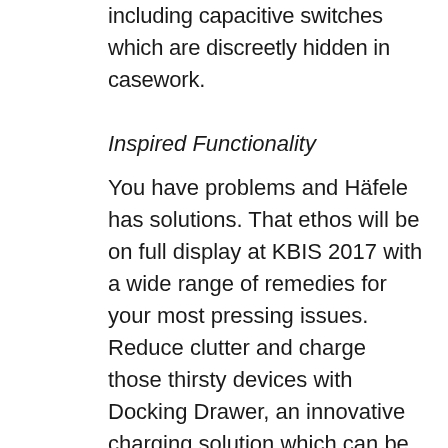including capacitive switches which are discreetly hidden in casework.
Inspired Functionality
You have problems and Häfele has solutions. That ethos will be on full display at KBIS 2017 with a wide range of remedies for your most pressing issues. Reduce clutter and charge those thirsty devices with Docking Drawer, an innovative charging solution which can be ordered in standard and GFCI varieties. Let's say you need space in the kitchen. Your cabinets should open up, instead of out—Häfele's Free family of flap fittings